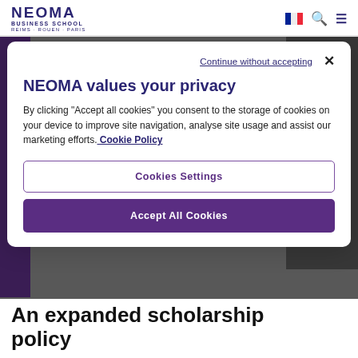[Figure (logo): NEOMA Business School logo with text REIMS · ROUEN · PARIS]
Continue without accepting  ×
NEOMA values your privacy
By clicking "Accept all cookies" you consent to the storage of cookies on your device to improve site navigation, analyse site usage and assist our marketing efforts. Cookie Policy
Cookies Settings
Accept All Cookies
An expanded scholarship policy